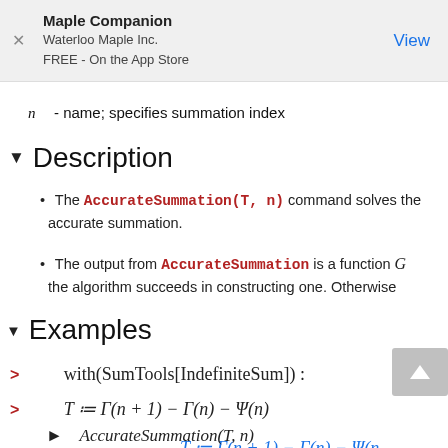Maple Companion
Waterloo Maple Inc.
FREE - On the App Store
View
n  - name; specifies summation index
Description
The AccurateSummation(T, n) command solves the accurate summation.
The output from AccurateSummation is a function G the algorithm succeeds in constructing one. Otherwise
Examples